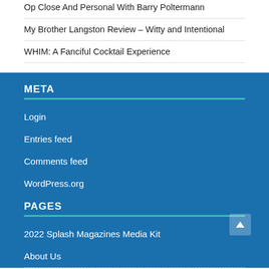Op Close And Personal With Barry Poltermann
My Brother Langston Review – Witty and Intentional
WHIM: A Fanciful Cocktail Experience
META
Login
Entries feed
Comments feed
WordPress.org
PAGES
2022 Splash Magazines Media Kit
About Us